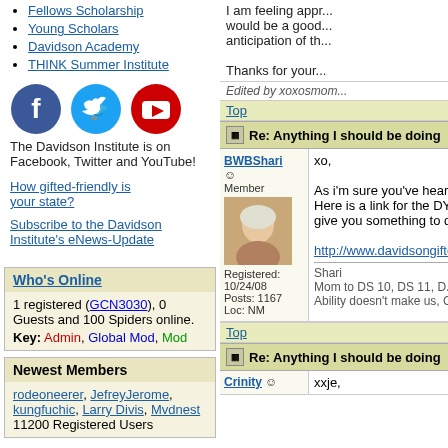Fellows Scholarship
Young Scholars
Davidson Academy
THINK Summer Institute
[Figure (illustration): Facebook, Twitter, and YouTube social media icons]
The Davidson Institute is on Facebook, Twitter and YouTube!
How gifted-friendly is your state?
Subscribe to the Davidson Institute's eNews-Update
Who's Online
1 registered (GCN3030), 0 Guests and 100 Spiders online.
Key: Admin, Global Mod, Mod
Newest Members
rodeoneerer, JefreyJerome, kungfuchic, Larry Divis, Mvdnest 11200 Registered Users
I am feeling appr... would be a good... anticipation of th...
Thanks for your...
Edited by xoxosmom...
Top
Re: Anything I should be doing
BWBShari xo,
As i'm sure you've heard... Here is a link for the DYS... give you something to do...
http://www.davidsongifted...
Shari
Mom to DS 10, DS 11, D...
Ability doesn't make us, C...
Top
Re: Anything I should be doing
Crinity xxje,